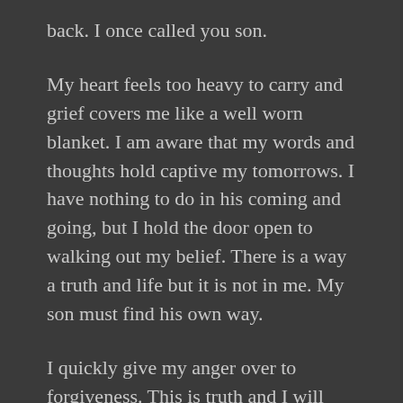back. I once called you son.
My heart feels too heavy to carry and grief covers me like a well worn blanket. I am aware that my words and thoughts hold captive my tomorrows. I have nothing to do in his coming and going, but I hold the door open to walking out my belief. There is a way a truth and life but it is not in me. My son must find his own way.
I quickly give my anger over to forgiveness. This is truth and I will declare restoration. I don't understand when, where or how. Isn't that the way with faith. If we could make the list, and launch the project then it is within my